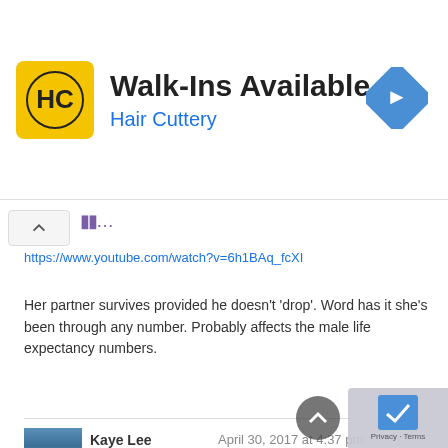[Figure (screenshot): Hair Cuttery advertisement banner with logo, 'Walk-Ins Available' heading, 'Hair Cuttery' subheading in blue, and a blue diamond-shaped arrow icon on the right]
https://www.youtube.com/watch?v=6h1BAq_fcXI
Her partner survives provided he doesn't 'drop'. Word has it she's been through any number. Probably affects the male life expectancy numbers.
Kaye Lee   April 30, 2017 at 4:37 pm
It seems to me there are a few oligarchs making a fortune out of Russia just like everywhere else, not least among them Putin's buddy Igor Sechin.
“Though he has worked for the government throughout his career, only switching to publicly traded Rosneft in 2012, he is fabulously wealthy